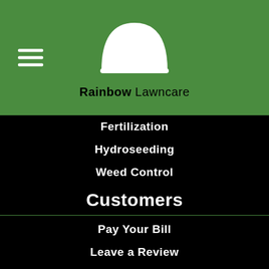[Figure (logo): Rainbow Lawncare logo with white grass/lawn semicircle graphic on green header background, with hamburger menu icon on left]
Fertilization
Hydroseeding
Weed Control
Customers
Pay Your Bill
Leave a Review
Contact Us
Company
Meet the Experts
Careers
COVID-19 Statement
[Figure (illustration): Social media icons: Facebook, Instagram, LinkedIn — white circles with black icons]